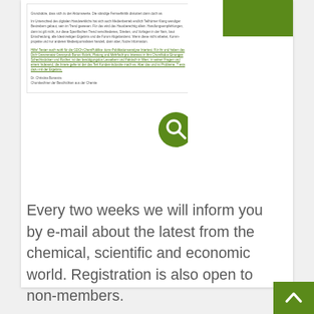[Figure (screenshot): Screenshot of a document page with German text and a green search/magnifier icon overlay, with a green bar in top right corner.]
Every two weeks we will inform you by e-mail about the latest from the chemical, scientific and economic world. Registration is also open to non-members.
Don't miss any more important dates, news and information from chemistry and the GDCh.
[Figure (other): Green button with white upward arrow (scroll-to-top button) in bottom right corner.]